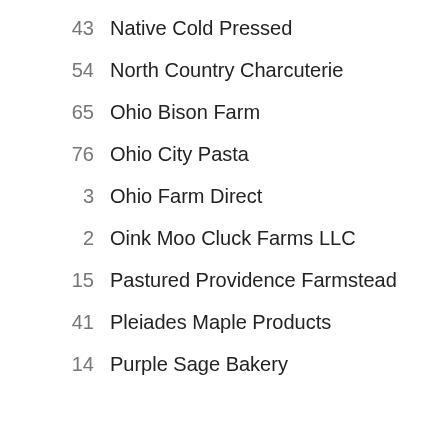43   Native Cold Pressed
54   North Country Charcuterie
65   Ohio Bison Farm
76   Ohio City Pasta
3   Ohio Farm Direct
2   Oink Moo Cluck Farms LLC
15   Pastured Providence Farmstead
41   Pleiades Maple Products
14   Purple Sage Bakery